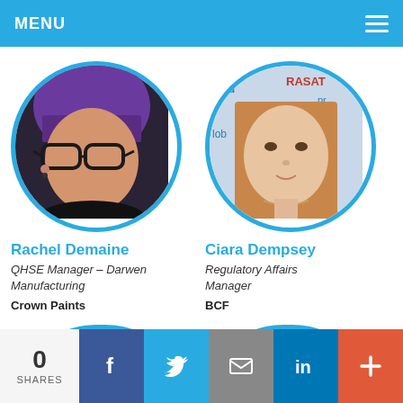MENU
[Figure (photo): Profile photo of Rachel Demaine, woman with purple hair and glasses]
Rachel Demaine
QHSE Manager – Darwen Manufacturing
Crown Paints
[Figure (photo): Profile photo of Ciara Dempsey, woman with long brown hair in front of a regulatory/lobbying word cloud background]
Ciara Dempsey
Regulatory Affairs Manager
BCF
[Figure (photo): Partial profile photo of a man (cropped, bottom of page)]
[Figure (photo): Partial profile photo of a woman with blonde/brown hair (cropped, bottom of page)]
0 SHARES